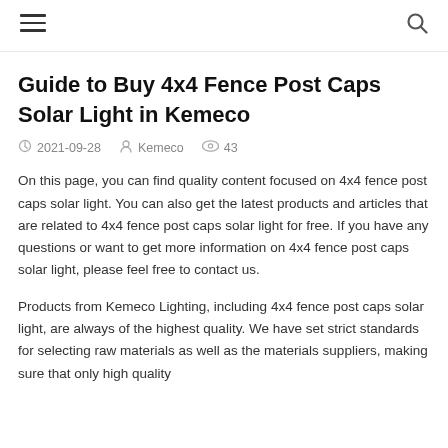[hamburger menu icon] [search icon]
Guide to Buy 4x4 Fence Post Caps Solar Light in Kemeco
2021-09-28  Kemeco  43
On this page, you can find quality content focused on 4x4 fence post caps solar light. You can also get the latest products and articles that are related to 4x4 fence post caps solar light for free. If you have any questions or want to get more information on 4x4 fence post caps solar light, please feel free to contact us.
Products from Kemeco Lighting, including 4x4 fence post caps solar light, are always of the highest quality. We have set strict standards for selecting raw materials as well as the materials suppliers, making sure that only high quality